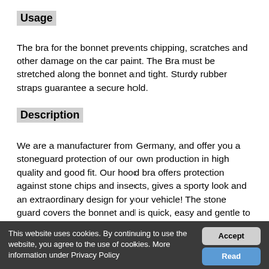Usage
The bra for the bonnet prevents chipping, scratches and other damage on the car paint. The Bra must be stretched along the bonnet and tight. Sturdy rubber straps guarantee a secure hold.
Description
We are a manufacturer from Germany, and offer you a stoneguard protection of our own production in high quality and good fit. Our hood bra offers protection against stone chips and insects, gives a sporty look and an extraordinary design for your vehicle! The stone guard covers the bonnet and is quick, easy and gentle to install on the vehicle. No cutting, no drilling required, completely without tools. The bonnet can be easily opened in the attached state. The Bra is made of weather-resistant synthetic leather, the
This website uses cookies. By continuing to use the website, you agree to the use of cookies. More information under Privacy Policy